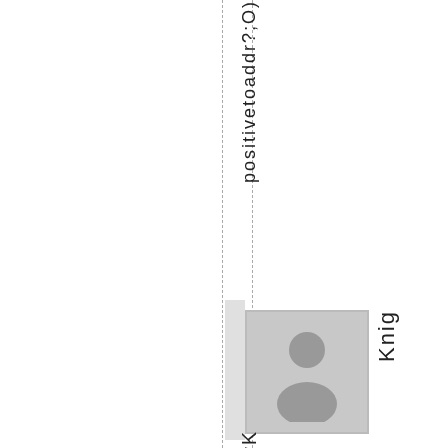positivetoaddr?;O)
[Figure (illustration): User avatar placeholder image showing a generic person silhouette in gray]
Knig
hTHawK